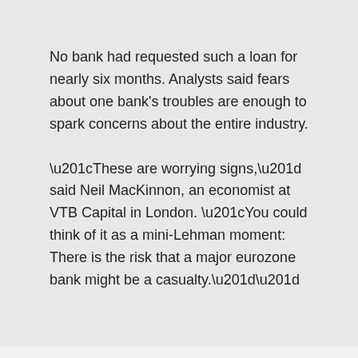No bank had requested such a loan for nearly six months. Analysts said fears about one bank's troubles are enough to spark concerns about the entire industry.
“These are worrying signs,” said Neil MacKinnon, an economist at VTB Capital in London. “You could think of it as a mini-Lehman moment: There is the risk that a major eurozone bank might be a casualty.””
Euro-Style Anxiety Spreads to US
The New York Times reports Euro-Style Anxiety Spreads